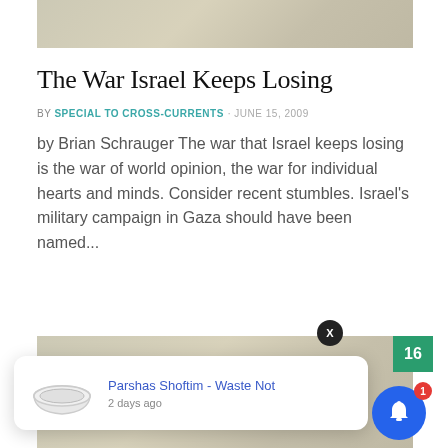[Figure (photo): Blurred parchment/handwriting background image, top portion]
The War Israel Keeps Losing
BY SPECIAL TO CROSS-CURRENTS · JUNE 15, 2009
by Brian Schrauger The war that Israel keeps losing is the war of world opinion, the war for individual hearts and minds. Consider recent stumbles. Israel's military campaign in Gaza should have been named...
[Figure (screenshot): Bottom parchment background image with notification popup overlay showing 'Parshas Shoftim - Waste Not' 2 days ago, a bowl image, close X button, green badge with 16, and blue bell notification button with red badge showing 1]